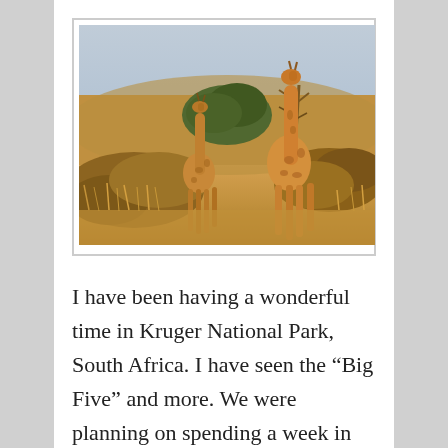[Figure (photo): Two giraffes standing in savanna bushland with dry golden grass in the foreground, sparse trees and shrubs behind them, and a pale blue sky. Likely Kruger National Park, South Africa.]
I have been having a wonderful time in Kruger National Park, South Africa. I have seen the “Big Five” and more. We were planning on spending a week in the park. It is now going on two weeks. We took a brief break and